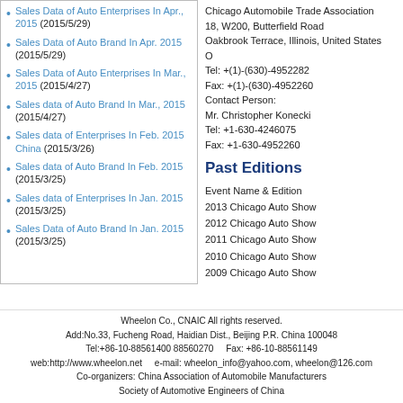Sales Data of Auto Enterprises In Apr., 2015 (2015/5/29)
Sales Data of Auto Brand In Apr. 2015 (2015/5/29)
Sales Data of Auto Enterprises In Mar., 2015 (2015/4/27)
Sales data of Auto Brand In Mar., 2015 (2015/4/27)
Sales data of Enterprises In Feb. 2015 China (2015/3/26)
Sales data of Auto Brand In Feb. 2015 (2015/3/25)
Sales data of Enterprises In Jan. 2015 (2015/3/25)
Sales Data of Auto Brand In Jan. 2015 (2015/3/25)
Chicago Automobile Trade Association
18, W200, Butterfield Road
Oakbrook Terrace, Illinois, United States O
Tel: +(1)-(630)-4952282
Fax: +(1)-(630)-4952260
Contact Person:
Mr. Christopher Konecki
Tel: +1-630-4246075
Fax: +1-630-4952260
Past Editions
Event Name & Edition
2013 Chicago Auto Show
2012 Chicago Auto Show
2011 Chicago Auto Show
2010 Chicago Auto Show
2009 Chicago Auto Show
Wheelon Co., CNAIC All rights reserved.
Add:No.33, Fucheng Road, Haidian Dist., Beijing P.R. China 100048
Tel:+86-10-88561400 88560270     Fax: +86-10-88561149
web:http://www.wheelon.net     e-mail: wheelon_info@yahoo.com, wheelon@126.com
Co-organizers: China Association of Automobile Manufacturers
Society of Automotive Engineers of China